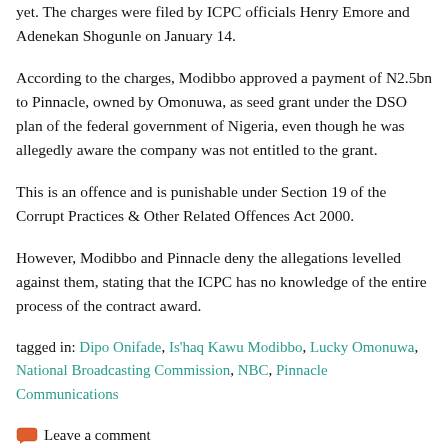yet. The charges were filed by ICPC officials Henry Emore and Adenekan Shogunle on January 14.
According to the charges, Modibbo approved a payment of N2.5bn to Pinnacle, owned by Omonuwa, as seed grant under the DSO plan of the federal government of Nigeria, even though he was allegedly aware the company was not entitled to the grant.
This is an offence and is punishable under Section 19 of the Corrupt Practices & Other Related Offences Act 2000.
However, Modibbo and Pinnacle deny the allegations levelled against them, stating that the ICPC has no knowledge of the entire process of the contract award.
tagged in: Dipo Onifade, Is'haq Kawu Modibbo, Lucky Omonuwa, National Broadcasting Commission, NBC, Pinnacle Communications
Leave a comment
[Figure (logo): NBC (National Broadcasting Commission) logo in green and red colors, partially visible at the bottom of the page]